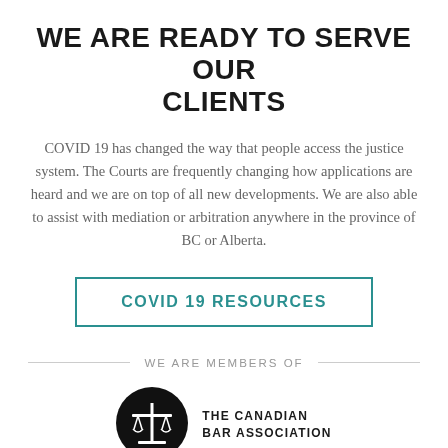WE ARE READY TO SERVE OUR CLIENTS
COVID 19 has changed the way that people access the justice system. The Courts are frequently changing how applications are heard and we are on top of all new developments. We are also able to assist with mediation or arbitration anywhere in the province of BC or Alberta.
COVID 19 RESOURCES
WE ARE MEMBERS OF
[Figure (logo): The Canadian Bar Association logo: black circle with white scales of justice icon]